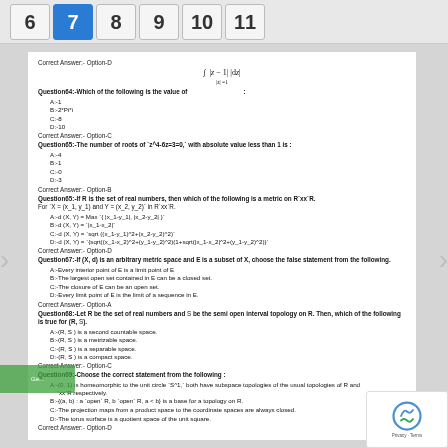6  7  8  9  10  11
Correct Answer:- Option-D
Question64:-Which of the following is the value of ∫|z-1||dz| |z|=1 :
A:-1
B:-2*Pi*i
C:-8
D:-10
Correct Answer:- Option-C
Question65:-The number of roots of `z^4-6z=3=0,` with absolute value less than 1 is :
A:-4
B:-1
C:-0
D:-3
Correct Answer:- Option-B
Question65:-If R is the set of real numbers, then which of the following is a metric on R`xx`R. For `X = (x_1, y_1) and Y = (x_2, y_2)` in R`xx`R.
A:-d (X, Y) = Max `{ |x_1-y_1|, |x_2-y_2| }`
B:-d (X, Y) = `|x_1-x_2|`
C:-d (X, Y) = `sqrt ((x_1-y_1)^2+(x_2-y_2)^2)`
D:-d (X, Y) = `{sqrt((x_1-x_2)^2+(y_1-y_2)^2)(1+sqrt(|x_1-x_2|^2+(y_1-y_2)^2)}`
Correct Answer:- Option-D
Question67:-If (X, d) is an arbitrary metric space and E is a subset of X, choose the false statement from the following.
A:-Every interior point of E is a limit point of E
B:-The largest open set contained in E can be a closed set
C:-The closure of E can be an open set
D:-Every limit point of E is the limit of a sequence in E
Correct Answer:- Option-A
Question68:-Let R be the set of real numbers and S be the semi open interval topology on R. Then, which of the following is true for (R, S).
A:-(R, S) is a second countable space.
B:-(R, S) is a metrizable space.
C:-(R, S) is a separable space.
D:-(R, S) is a compact space.
Correct Answer:- Option-C
Question69:-Choose the correct statement from the following :
A:-(0, 1) is homeomorphic to the unit circle `S^1,` both have subspace topologies of the usual topologies of R and `xx`R respectively.
B:-{(a, b) : a `open` R, b `open` R, a < b} is a base for a topology on R.
C:-The projection maps from a product space to the coordinate spaces are always closed.
D:-The torus surface is a quotient space of the unit square.
Correct Answer:- Option-D